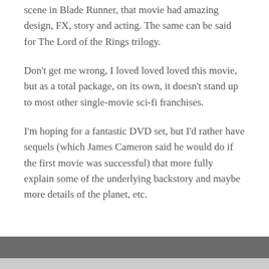scene in Blade Runner, that movie had amazing design, FX, story and acting. The same can be said for The Lord of the Rings trilogy.
Don't get me wrong, I loved loved loved this movie, but as a total package, on its own, it doesn't stand up to most other single-movie sci-fi franchises.
I'm hoping for a fantastic DVD set, but I'd rather have sequels (which James Cameron said he would do if the first movie was successful) that more fully explain some of the underlying backstory and maybe more details of the planet, etc.